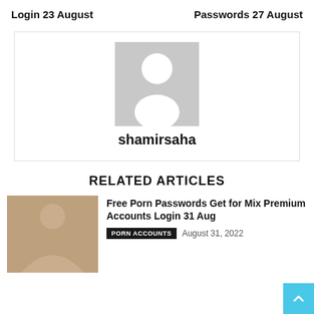Login 23 August    Passwords 27 August
[Figure (illustration): User profile card with gray avatar placeholder silhouette and username 'shamirsaha' below]
RELATED ARTICLES
[Figure (photo): Thumbnail image for related article about Free Porn Passwords]
Free Porn Passwords Get for Mix Premium Accounts Login 31 Aug
PORN ACCOUNTS  August 31, 2022